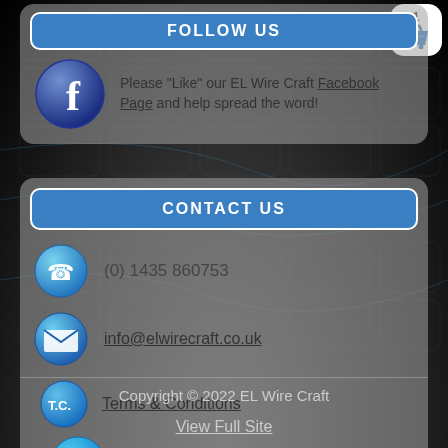FOLLOW US
Please "Like" our EL Wire Craft Facebook Page and help spread the word!
CONTACT US
(0) 1435 860753
info@elwirecraft.co.uk
Terms & Conditions
Privacy Policy
Copyright © 2022 EL Wire Craft
View Full Site